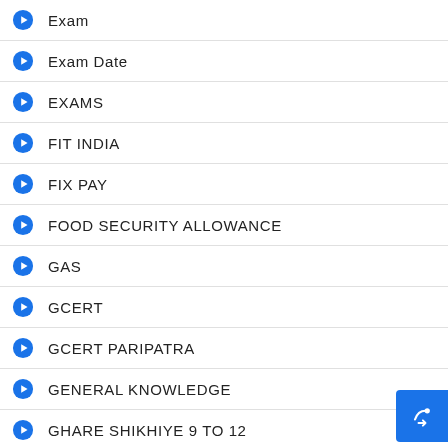Exam
Exam Date
EXAMS
FIT INDIA
FIX PAY
FOOD SECURITY ALLOWANCE
GAS
GCERT
GCERT PARIPATRA
GENERAL KNOWLEDGE
GHARE SHIKHIYE 9 TO 12
GK
GOVERNMENT APP
Government Job